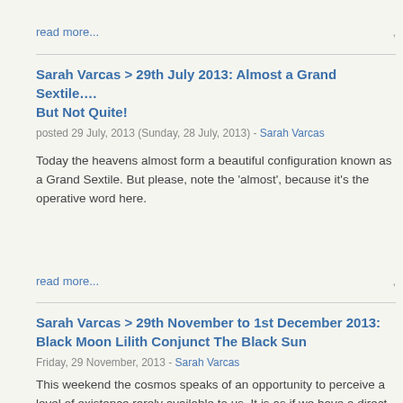read more...
Sarah Varcas > 29th July 2013: Almost a Grand Sextile…. But Not Quite!
posted 29 July, 2013 (Sunday, 28 July, 2013) - Sarah Varcas
Today the heavens almost form a beautiful configuration known as a Grand Sextile. But please, note the 'almost', because it's the operative word here.
read more...
Sarah Varcas > 29th November to 1st December 2013: Black Moon Lilith Conjunct The Black Sun
Friday, 29 November, 2013 - Sarah Varcas
This weekend the cosmos speaks of an opportunity to perceive a level of existence rarely available to us. It is as if we have a direct line to Source, toll-free and without interference.